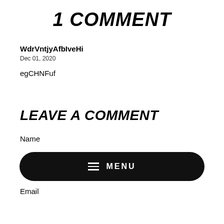1 COMMENT
WdrVntjyAfbIveHi
Dec 01, 2020
egCHNFuf
LEAVE A COMMENT
Name
≡ MENU
Email